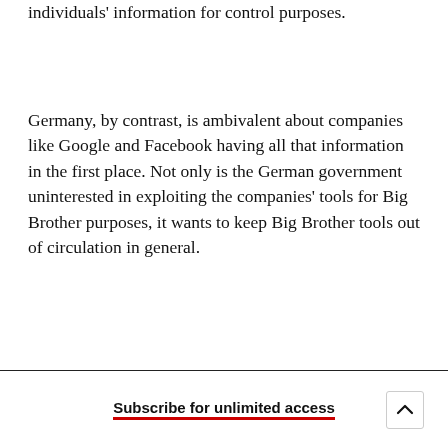individuals' information for control purposes.
Germany, by contrast, is ambivalent about companies like Google and Facebook having all that information in the first place. Not only is the German government uninterested in exploiting the companies' tools for Big Brother purposes, it wants to keep Big Brother tools out of circulation in general.
Subscribe for unlimited access